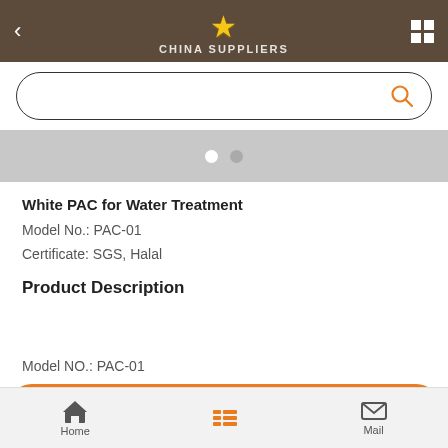CHINA SUPPLIERS
[Figure (screenshot): Search input box with orange search icon on right]
[Figure (other): Carousel pagination dots, two white circles on gray background]
White PAC for Water Treatment
Model No.:  PAC-01
Certificate: SGS, Halal
Product Description
Model NO.: PAC-01
[Figure (screenshot): Orange Contact Now button]
Home   Mail